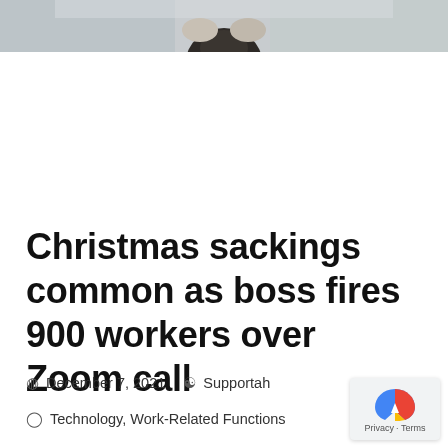[Figure (photo): Partial photo showing top of a person's head with dark hair against a light background, cropped at the top of the page.]
Christmas sackings common as boss fires 900 workers over Zoom call
December 7, 2021   Supportah
Technology, Work-Related Functions